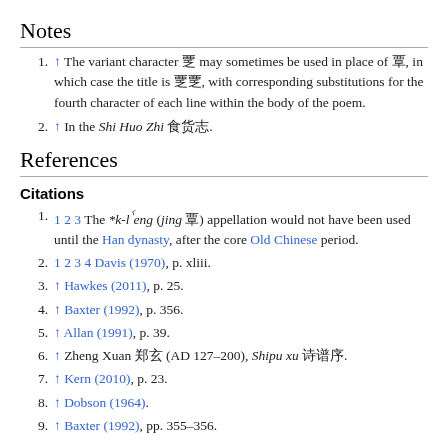Notes
↑ The variant character 覂 may sometimes be used in place of 覃, in which case the title is 覂覂, with corresponding substitutions for the fourth character of each line within the body of the poem.
↑ In the Shi Huo Zhi 食货志.
References
Citations
1 2 3 The *k-lˤeng (jing 覃) appellation would not have been used until the Han dynasty, after the core Old Chinese period.
1 2 3 4 Davis (1970), p. xliii.
↑ Hawkes (2011), p. 25.
↑ Baxter (1992), p. 356.
↑ Allan (1991), p. 39.
↑ Zheng Xuan 郑玄 (AD 127–200), Shipu xu 诗谱序.
↑ Kern (2010), p. 23.
↑ Dobson (1964).
↑ Baxter (1992), pp. 355–356.